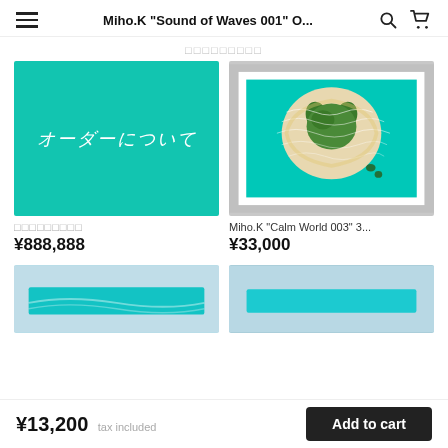Miho.K "Sound of Waves 001" O...
□□□□□□□□□
[Figure (illustration): Teal/turquoise background card with Japanese text 'オーダーについて' in white italic script]
□□□□□□□□□
¥888,888
[Figure (photo): Framed artwork showing aerial view of heart-shaped island with teal water and white wave patterns, with sea turtles, white frame on grey background]
Miho.K "Calm World 003" 3...
¥33,000
[Figure (photo): Partial view of teal ocean wave artwork, horizontal bar shape, light blue and teal colors]
[Figure (photo): Partial view of teal horizontal bar artwork on light blue background]
¥13,200 tax included   Add to cart